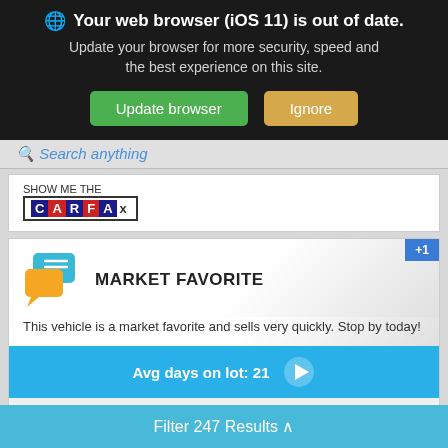Your web browser (iOS 11) is out of date. Update your browser for more security, speed and the best experience on this site. Update browser | Ignore
Search anything
[Figure (logo): Show Me The CARFAX logo]
[Figure (infographic): Market Favorite badge with chat icons. Text: This vehicle is a market favorite and sells very quickly. Stop by today! Avg days on lot: 21. +1 badge. Powered by TRADEPENDING.]
BUY TODAY
$11,7...
Value Your Trade
Filter 247 Results ^